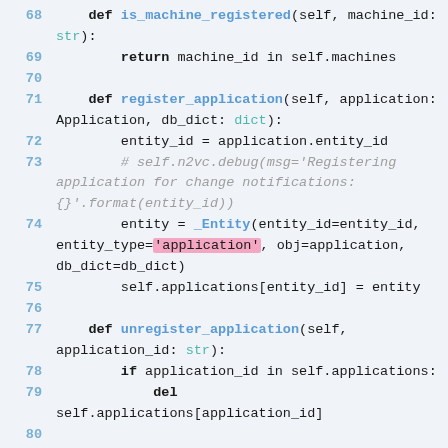[Figure (screenshot): Python source code snippet showing class methods: is_machine_registered, register_application, unregister_application, and is_application_registered. Lines 68–82 are shown with syntax highlighting on a light blue-gray background.]